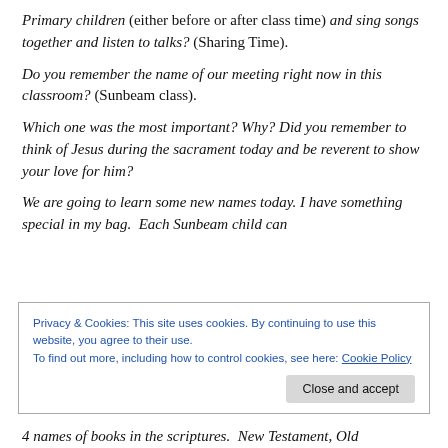Primary children (either before or after class time) and sing songs together and listen to talks? (Sharing Time).
Do you remember the name of our meeting right now in this classroom? (Sunbeam class).
Which one was the most important? Why? Did you remember to think of Jesus during the sacrament today and be reverent to show your love for him?
We are going to learn some new names today. I have something special in my bag.  Each Sunbeam child can
Privacy & Cookies: This site uses cookies. By continuing to use this website, you agree to their use.
To find out more, including how to control cookies, see here: Cookie Policy
4 names of books in the scriptures.  New Testament, Old